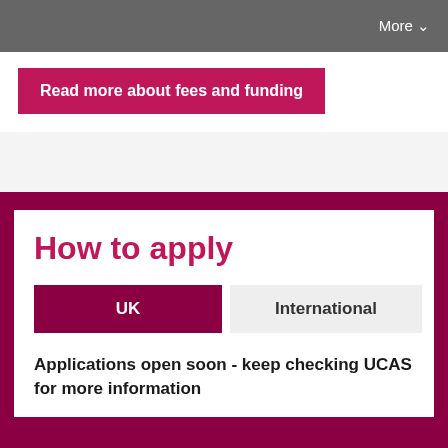More
Read more about fees and funding
How to apply
UK
International
Applications open soon - keep checking UCAS for more information